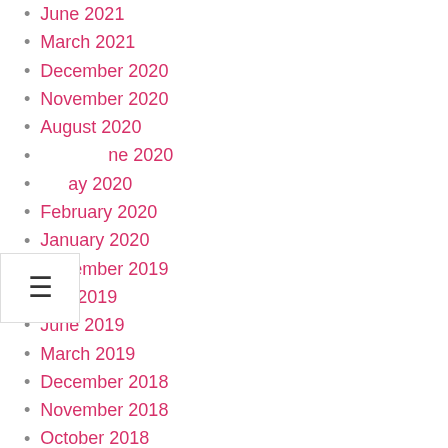June 2021
March 2021
December 2020
November 2020
August 2020
June 2020
May 2020
February 2020
January 2020
December 2019
July 2019
June 2019
March 2019
December 2018
November 2018
October 2018
July 2017
February 2017
December 2016